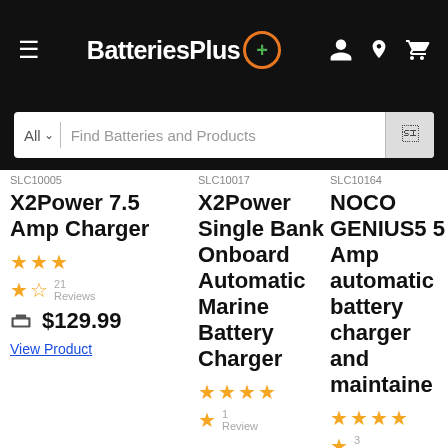BatteriesPlus+
All — Find Batteries and Products
SLC10005
X2Power 7.5 Amp Charger
3.5 stars, 21 Reviews
$129.99
View Product
SLC10017
X2Power Single Bank Onboard Automatic Marine Battery Charger
4 stars, 1 Review
SLC10164
NOCO GENIUS5 5 Amp automatic battery charger and maintaine
4 stars, 3 Revie